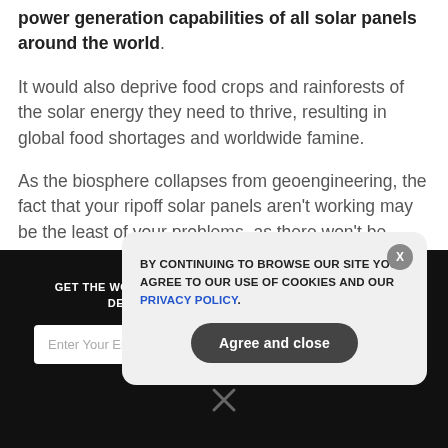power generation capabilities of all solar panels around the world.
It would also deprive food crops and rainforests of the solar energy they need to thrive, resulting in global food shortages and worldwide famine.
As the biosphere collapses from geoengineering, the fact that your ripoff solar panels aren't working may be the least of your problems, as there won't be much food remaining in
GET THE WORLD'S BEST NATURAL HEALTH NEWSLETTER DELIVERED STRAIGHT TO YOUR INBOX.
BY CONTINUING TO BROWSE OUR SITE YOU AGREE TO OUR USE OF COOKIES AND OUR PRIVACY POLICY.
Agree and close